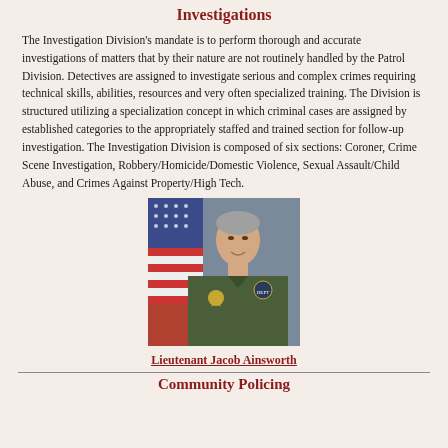Investigations
The Investigation Division's mandate is to perform thorough and accurate investigations of matters that by their nature are not routinely handled by the Patrol Division. Detectives are assigned to investigate serious and complex crimes requiring technical skills, abilities, resources and very often specialized training. The Division is structured utilizing a specialization concept in which criminal cases are assigned by established categories to the appropriately staffed and trained section for follow-up investigation. The Investigation Division is composed of six sections: Coroner, Crime Scene Investigation, Robbery/Homicide/Domestic Violence, Sexual Assault/Child Abuse, and Crimes Against Property/High Tech.
[Figure (photo): Portrait photo of Lieutenant Jacob Ainsworth in sheriff uniform with American flag in background]
Lieutenant Jacob Ainsworth
Community Policing